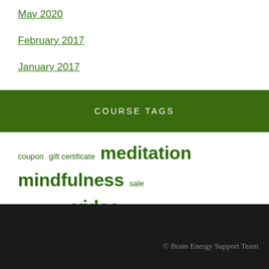May 2020
February 2017
January 2017
COURSE TAGS
coupon gift certificate meditation mindfulness sale self-care video zoom
© Brain Energy Support Team